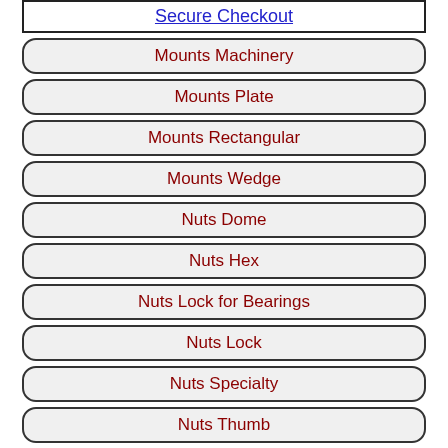Secure Checkout
Mounts Machinery
Mounts Plate
Mounts Rectangular
Mounts Wedge
Nuts Dome
Nuts Hex
Nuts Lock for Bearings
Nuts Lock
Nuts Specialty
Nuts Thumb
[Figure (logo): PayPal logo with 'Paypal' link text below]